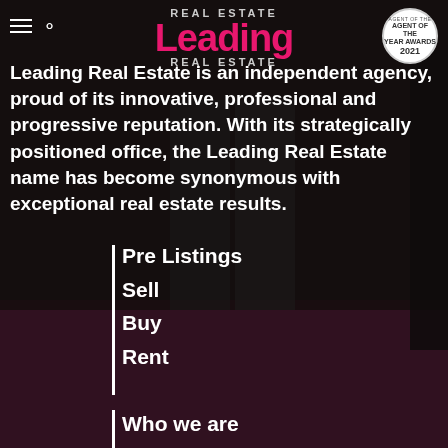[Figure (screenshot): Dark real estate office interior background with magenta/pink carpet, glass doors, with semi-transparent dark overlay]
REAL ESTATE Leading REAL ESTATE
Leading Real Estate is an independent agency, proud of its innovative, professional and progressive reputation. With its strategically positioned office, the Leading Real Estate name has become synonymous with exceptional real estate results.
Pre Listings
Sell
Buy
Rent
Who we are
Our Awards
Community Support
Maintenance request